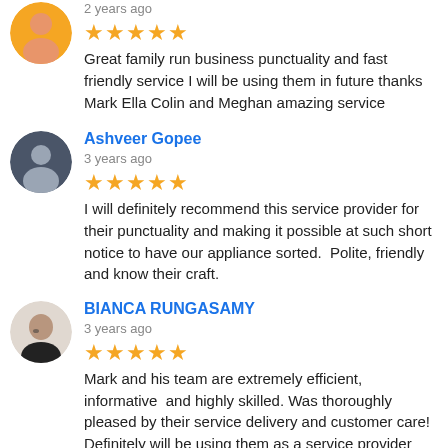2 years ago
Great family run business punctuality and fast friendly service I will be using them in future thanks Mark Ella Colin and Meghan amazing service
Ashveer Gopee
3 years ago
I will definitely recommend this service provider for their punctuality and making it possible at such short notice to have our appliance sorted. Polite, friendly and know their craft.
BIANCA RUNGASAMY
3 years ago
Mark and his team are extremely efficient, informative and highly skilled. Was thoroughly pleased by their service delivery and customer care! Definitely will be using them as a service provider from now on.
Liz Botha
3 years ago
Wow, I am totally amazed by Mark and his team from Appliance Repair King. I made contact this morning